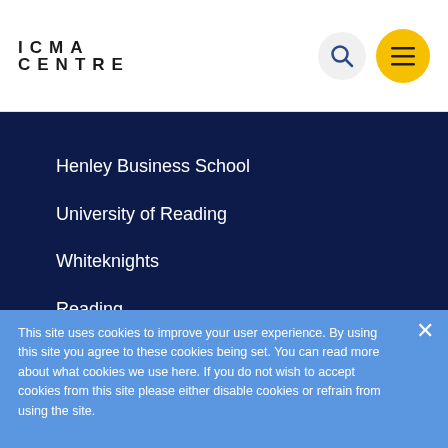ICMA CENTRE
Henley Business School
University of Reading
Whiteknights
Reading
RG6 6DL (RG6 6UR for satnav)
United Kingdom
Maps and directions
This site uses cookies to improve your user experience. By using this site you agree to these cookies being set. You can read more about what cookies we use here. If you do not wish to accept cookies from this site please either disable cookies or refrain from using the site.